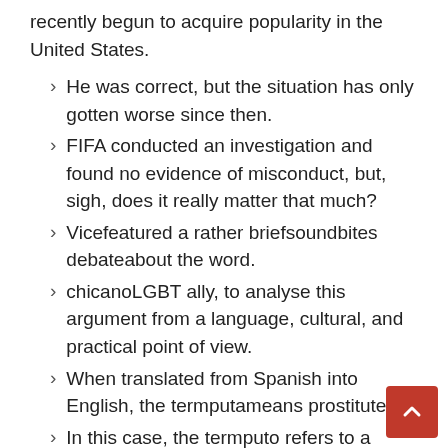recently begun to acquire popularity in the United States.
He was correct, but the situation has only gotten worse since then.
FIFA conducted an investigation and found no evidence of misconduct, but, sigh, does it really matter that much?
Vicefeatured a rather briefsoundbites debateabout the word.
chicanoLGBT ally, to analyse this argument from a language, cultural, and practical point of view.
When translated from Spanish into English, the termputameans prostitute.
In this case, the termputo refers to a